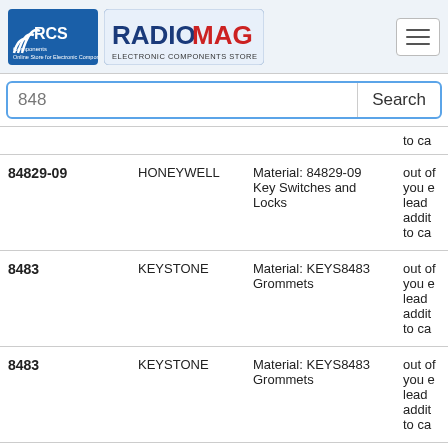RCS Components | RADIOMAG Electronic Components Store
848 [Search]
| Part | Manufacturer | Description | Status |
| --- | --- | --- | --- |
| 84829-09 | HONEYWELL | Material: 84829-09 Key Switches and Locks | out of stock... |
| 8483 | KEYSTONE | Material: KEYS8483 Grommets | out of stock... |
| 8483 | KEYSTONE | Material: KEYS8483 Grommets | out of stock... |
| 84830-07 | HONEYWELL | Material: 84830-07 Key Switches and Locks | out of stock... |